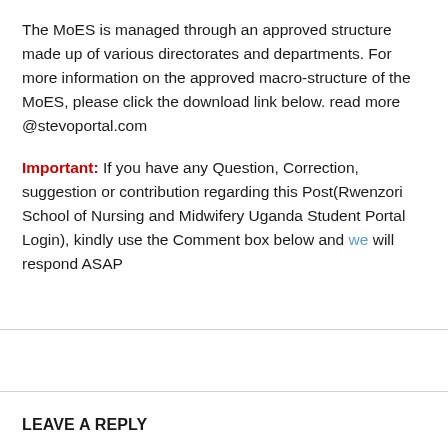The MoES is managed through an approved structure made up of various directorates and departments. For more information on the approved macro-structure of the MoES, please click the download link below. read more @stevoportal.com
Important: If you have any Question, Correction, suggestion or contribution regarding this Post(Rwenzori School of Nursing and Midwifery Uganda Student Portal Login), kindly use the Comment box below and we will respond ASAP
LEAVE A REPLY